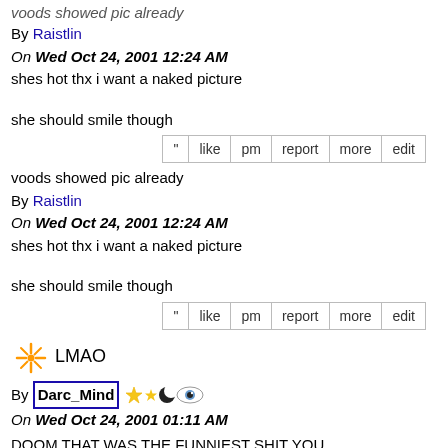voods showed pic already
By Raistlin
On Wed Oct 24, 2001 12:24 AM
shes hot thx i want a naked picture
she should smile though
| " | like | pm | report | more | edit |
| --- | --- | --- | --- | --- | --- |
voods showed pic already
By Raistlin
On Wed Oct 24, 2001 12:24 AM
shes hot thx i want a naked picture
she should smile though
| " | like | pm | report | more | edit |
| --- | --- | --- | --- | --- | --- |
LMAO
By Darc_Mind
On Wed Oct 24, 2001 01:11 AM
DOOM THAT WAS THE FUNNIEST SHIT YOU